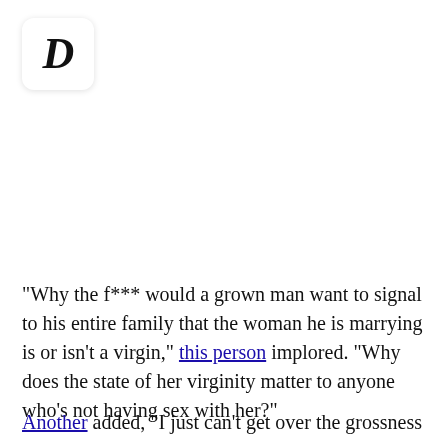[Figure (logo): Italic bold letter D logo in a white rounded square with shadow]
"Why the f*** would a grown man want to signal to his entire family that the woman he is marrying is or isn't a virgin," this person implored. "Why does the state of her virginity matter to anyone who's not having sex with her?"
Another added, "I just can't get over the grossness